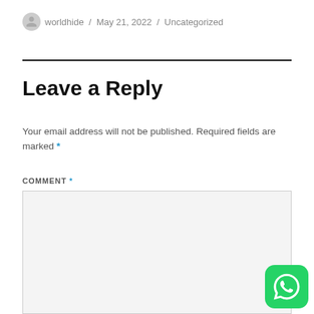worldhide / May 21, 2022 / Uncategorized
Leave a Reply
Your email address will not be published. Required fields are marked *
COMMENT *
[Figure (screenshot): Empty comment textarea input box with light grey background]
[Figure (logo): WhatsApp floating action button icon, green rounded square with white phone/chat icon]